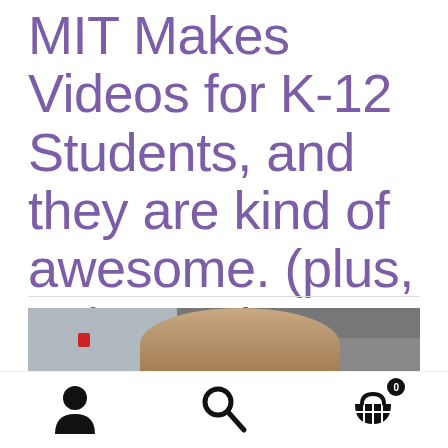MIT Makes Videos for K-12 Students, and they are kind of awesome. (plus, unicorns!)
[Figure (photo): Video screenshot showing a person with long dark hair in what appears to be a lab or classroom setting]
[Figure (other): Bottom navigation bar with person/account icon, search icon, and shopping cart icon with badge showing 0]